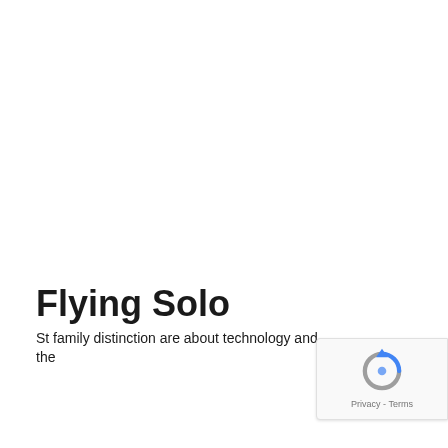Flying Solo
St family distinction are about technology and the
[Figure (logo): Google reCAPTCHA badge with rotating arrow icon and Privacy - Terms text]